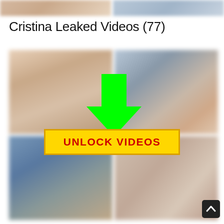[Figure (photo): Two blurred/censored thumbnail images in a top strip]
Cristina Leaked Videos (77)
[Figure (photo): Four blurred/censored video thumbnail images in a 2x2 grid with a green downward arrow overlay and a yellow UNLOCK VIDEOS button]
[Figure (other): Dark scroll-to-top button in bottom right corner]